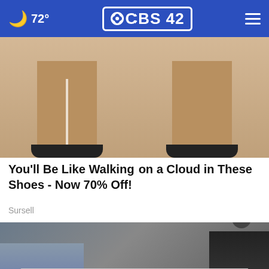72° CBS 42
[Figure (photo): Close-up of two shoe soles/heels from below on a light wooden/sand background]
You'll Be Like Walking on a Cloud in These Shoes - Now 70% Off!
Sursell
[Figure (photo): Person and motorcycle on pavement, with another person or figure on the right side, with an advertisement overlay for Midfield Dental]
Midfield Dental — TAP HERE & Book Your Appt Today